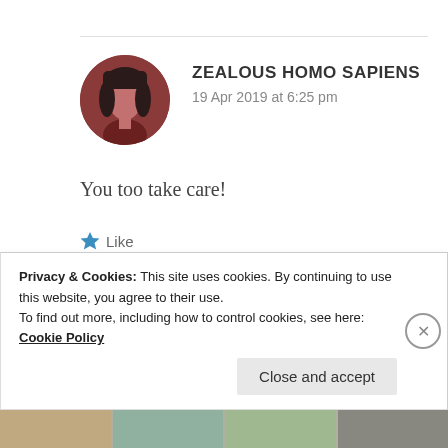ZEALOUS HOMO SAPIENS
19 Apr 2019 at 6:25 pm
[Figure (photo): Round avatar image of a person with dark hair, reddish-brown toned photo]
You too take care!
Like
[Figure (photo): Partial second comment with colorful round avatar and placeholder boxes for username]
Privacy & Cookies: This site uses cookies. By continuing to use this website, you agree to their use. To find out more, including how to control cookies, see here: Cookie Policy
Close and accept